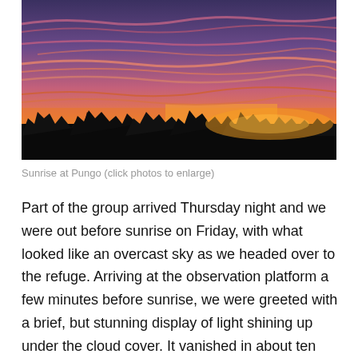[Figure (photo): A dramatic sunrise photo taken at Pungo. The sky is filled with vivid pink, purple, and orange clouds. The bottom of the image shows a dark silhouette of trees along the horizon with a bright orange glow just above them.]
Sunrise at Pungo (click photos to enlarge)
Part of the group arrived Thursday night and we were out before sunrise on Friday, with what looked like an overcast sky as we headed over to the refuge. Arriving at the observation platform a few minutes before sunrise, we were greeted with a brief, but stunning display of light shining up under the cloud cover. It vanished in about ten minutes, and I thought that would be the last sun we would